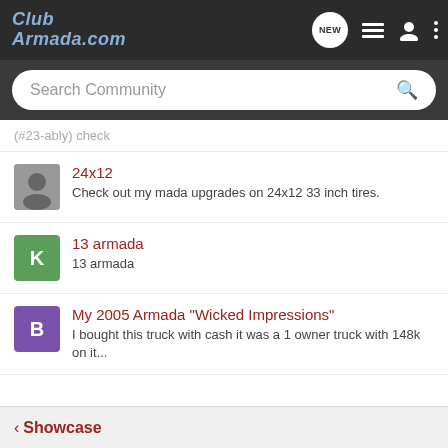Club Armada.com
Search Community
(#23-ably) check
24x12 — Check out my mada upgrades on 24x12 33 inch tires.
13 armada — 13 armada
My 2005 Armada "Wicked Impressions" — I bought this truck with cash it was a 1 owner truck with 148k on it...
< Showcase